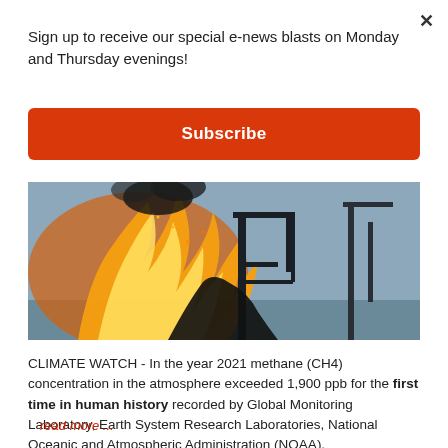×
Sign up to receive our special e-news blasts on Monday and Thursday evenings!
Subscribe
[Figure (photo): Photograph of an industrial oil or gas flare with intense orange and yellow flames and black smoke, with a silhouetted pump jack and machinery in the background against a gray sky.]
CLIMATE WATCH - In the year 2021 methane (CH4) concentration in the atmosphere exceeded 1,900 ppb for the first time in human history recorded by Global Monitoring Laboratory, Earth System Research Laboratories, National Oceanic and Atmospheric Administration (NOAA).
read more ...